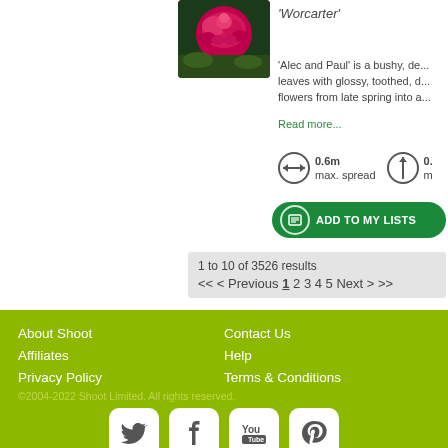[Figure (photo): Close-up photo of a pink/red rose flower]
'Worcarter'
'Alec and Paul' is a bushy, de... leaves with glossy, toothed, o... flowers from late spring into a...
Read more...
0.6m max. spread
ADD TO MY LISTS
1 to 10 of 3526 results
<< < Previous 1 2 3 4 5 Next > >>
About Shoot  Contact Us  Affiliates  Help  Privacy Policy  Terms & Conditions  ©2004-2022 Shoot Limited. All rights reserved.